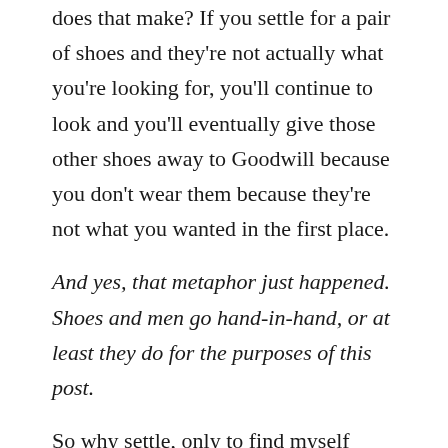does that make? If you settle for a pair of shoes and they're not actually what you're looking for, you'll continue to look and you'll eventually give those other shoes away to Goodwill because you don't wear them because they're not what you wanted in the first place.
And yes, that metaphor just happened. Shoes and men go hand-in-hand, or at least they do for the purposes of this post.
So why settle, only to find myself miserable a few years down the road and instead of enjoying that time, I would feel as though I'd wasted it with the wrong person? I know that